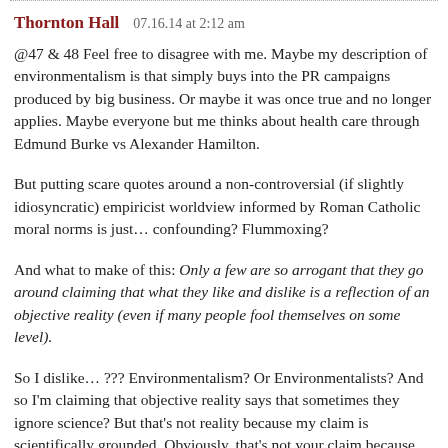Thornton Hall   07.16.14 at 2:12 am
@47 & 48 Feel free to disagree with me. Maybe my description of environ... that simply buys into the PR campaigns produced by big business. Or may... true and no longer applies. Maybe everyone but me thinks about health ca... Edmund Burke vs Alexander Hamilton.
But putting scare quotes around a non-controversial (if slightly idiosyncrat... empiricist worldview informed by Roman Catholic moral norms is just… ... confounding? Flummoxing?
And what to make of this: Only a few are so arrogant that they go around... they like and dislike is a reflection of an objective reality (even if many peo... some level).
So I dislike… ??? Environmentalism? Or Environmentalists? And so I'm c... reality says that sometimes they ignore science? But that's not reality beca... scientifically grounded. Obviously, that's not your claim because the absol... impossible to defend. Maybe it makes more sense re: a specific claim? Lik